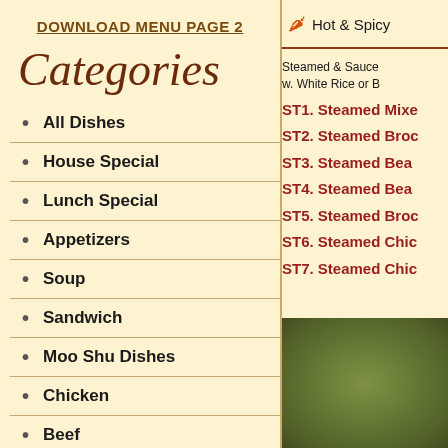DOWNLOAD MENU PAGE 2
Categories
All Dishes
House Special
Lunch Special
Appetizers
Soup
Sandwich
Moo Shu Dishes
Chicken
Beef
🌶 Hot & Spicy
Steamed & Sauce w. White Rice or B
ST1. Steamed Mixe
ST2. Steamed Broc
ST3. Steamed Bea
ST4. Steamed Bea
ST5. Steamed Broc
ST6. Steamed Chic
ST7. Steamed Chic